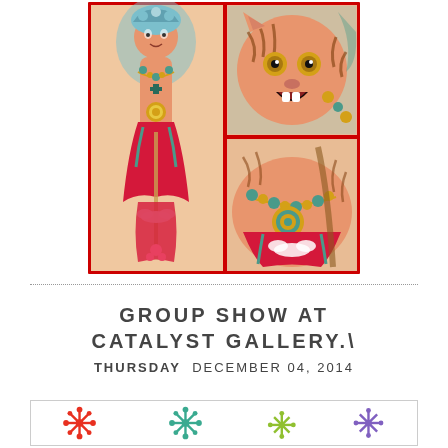[Figure (illustration): Composite of tattoo artwork showing an Asian-style figure (possibly a deity or warrior) with ornate jewelry and robes on the left panel, and two close-up detail shots on the right panels showing a tiger-like face on top and decorative jewelry/fabric details on the bottom. All panels bordered in red.]
GROUP SHOW AT CATALYST GALLERY.\
THURSDAY DECEMBER 04, 2014
[Figure (illustration): Bottom banner showing colorful snowflake icons in red, teal/green, yellow-green, and purple on white background, suggesting a winter/holiday event flyer.]